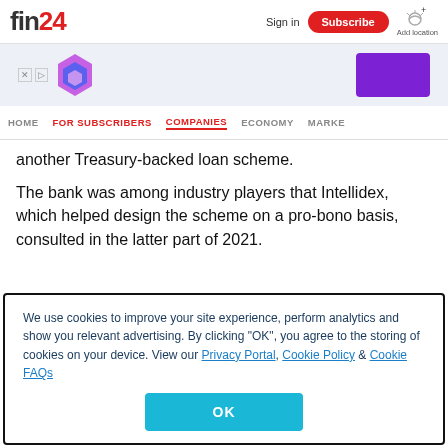fin24 | Sign in | Subscribe | Add location
[Figure (advertisement): Ad banner with colorful diamond logo and purple rectangle on light blue background]
HOME | FOR SUBSCRIBERS | COMPANIES | ECONOMY | MARKE
another Treasury-backed loan scheme.
The bank was among industry players that Intellidex, which helped design the scheme on a pro-bono basis, consulted in the latter part of 2021.
We use cookies to improve your site experience, perform analytics and show you relevant advertising. By clicking "OK", you agree to the storing of cookies on your device. View our Privacy Portal, Cookie Policy & Cookie FAQs
OK